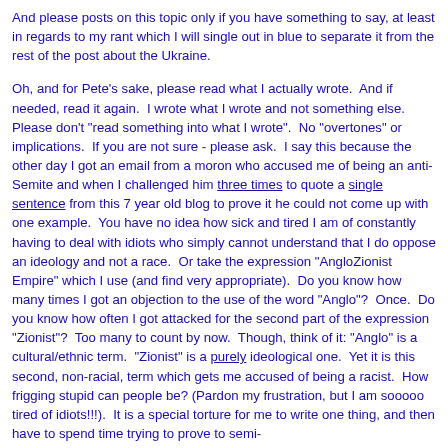And please posts on this topic only if you have something to say, at least in regards to my rant which I will single out in blue to separate it from the rest of the post about the Ukraine.
Oh, and for Pete's sake, please read what I actually wrote.  And if needed, read it again.  I wrote what I wrote and not something else.  Please don't "read something into what I wrote".  No "overtones" or implications.  If you are not sure - please ask.  I say this because the other day I got an email from a moron who accused me of being an anti-Semite and when I challenged him three times to quote a single sentence from this 7 year old blog to prove it he could not come up with one example.  You have no idea how sick and tired I am of constantly having to deal with idiots who simply cannot understand that I do oppose an ideology and not a race.  Or take the expression "AngloZionist Empire" which I use (and find very appropriate).  Do you know how many times I got an objection to the use of the word "Anglo"?  Once.  Do you know how often I got attacked for the second part of the expression "Zionist"?  Too many to count by now.  Though, think of it: "Anglo" is a cultural/ethnic term.  "Zionist" is a purely ideological one.  Yet it is this second, non-racial, term which gets me accused of being a racist.  How frigging stupid can people be? (Pardon my frustration, but I am sooooo tired of idiots!!!).  It is a special torture for me to write one thing, and then have to spend time trying to prove to semi-